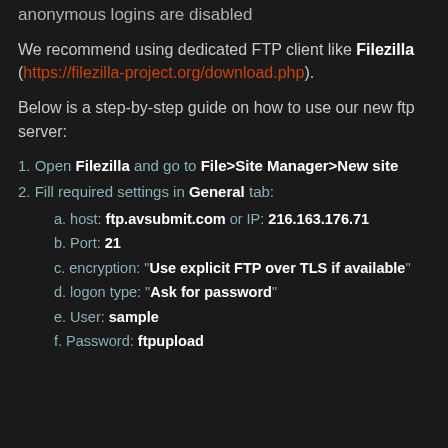anonymous logins are disabled
We recommend using dedicated FTP client like Filezilla (https://filezilla-project.org/download.php).
Below is a step-by-step guide on how to use our new ftp server:
1. Open Filezilla and go to File>Site Manager>New site
2. Fill required settings in General tab:
a. host: ftp.avsubmit.com or IP: 216.163.176.71
b. Port: 21
c. encryption: "Use explicit FTP over TLS if available"
d. logon type: "Ask for password"
e. User: sample
f. Password: ftpupload